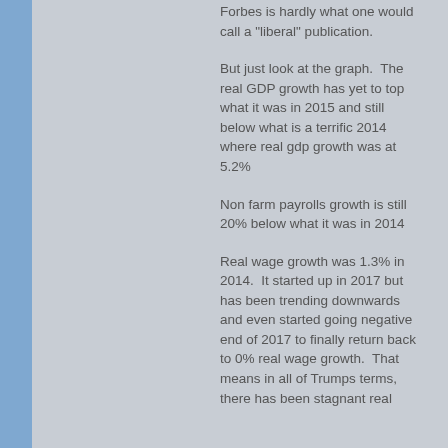Forbes is hardly what one would call a "liberal" publication.
But just look at the graph.  The real GDP growth has yet to top what it was in 2015 and still below what is a terrific 2014 where real gdp growth was at 5.2%
Non farm payrolls growth is still 20% below what it was in 2014
Real wage growth was 1.3% in 2014.  It started up in 2017 but has been trending downwards and even started going negative end of 2017 to finally return back to 0% real wage growth.  That means in all of Trumps terms, there has been stagnant real